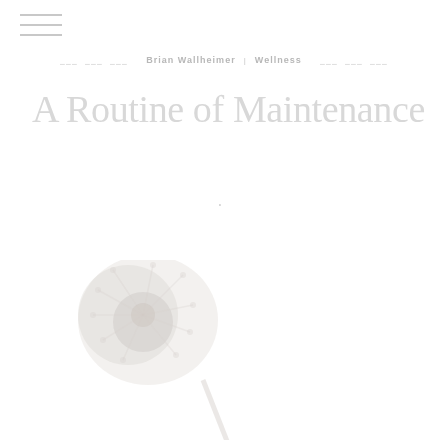Brian Wallheimer | Wellness
A Routine of Maintenance
[Figure (photo): A lightly faded/washed-out photograph of what appears to be a dandelion or similar flower, very pale and nearly white against a white background, partially visible in the lower-left quadrant of the page.]